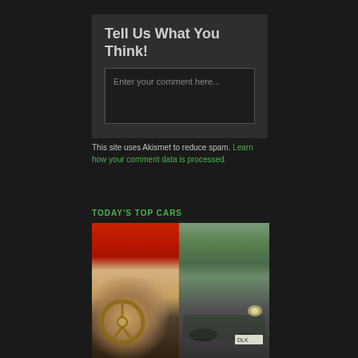Tell Us What You Think!
Enter your comment here...
This site uses Akismet to reduce spam. Learn how your comment data is processed.
TODAY'S TOP CARS
[Figure (photo): Interior of a classic red car showing a wooden steering wheel and dashboard]
[Figure (photo): Exterior of a classic dark green vintage car on a road, license plate DLK visible]